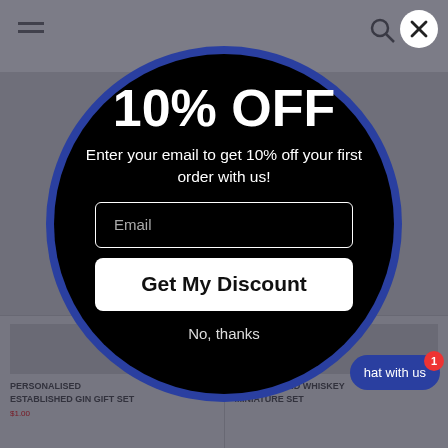[Figure (screenshot): Background of a shopping website showing hamburger menu, search and cart icons, and product listings at the bottom including 'PERSONALISED ESTABLISHED GIN GIFT SET' and 'TUMBLER AND WHISKEY MINIATURE SET']
10% OFF
Enter your email to get 10% off your first order with us!
Email
Get My Discount
No, thanks